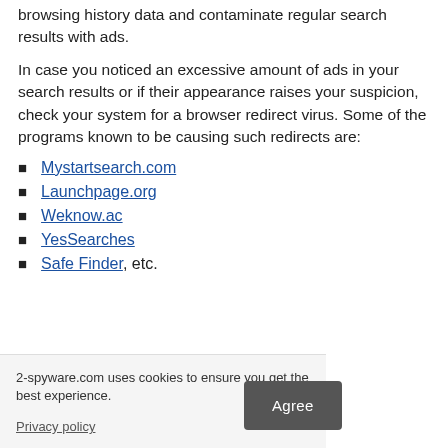browsing history data and contaminate regular search results with ads.
In case you noticed an excessive amount of ads in your search results or if their appearance raises your suspicion, check your system for a browser redirect virus. Some of the programs known to be causing such redirects are:
Mystartsearch.com
Launchpage.org
Weknow.ac
YesSearches
Safe Finder, etc.
2-spyware.com uses cookies to ensure you get the best experience.
Privacy policy